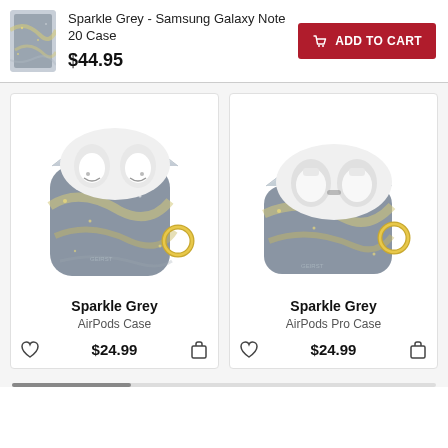[Figure (photo): Thumbnail of Sparkle Grey Samsung Galaxy Note 20 Case]
Sparkle Grey - Samsung Galaxy Note 20 Case
$44.95
ADD TO CART
[Figure (photo): Sparkle Grey AirPods case with marble grey and gold glitter design, open lid showing white earbuds, gold ring attachment]
Sparkle Grey
AirPods Case
$24.99
[Figure (photo): Sparkle Grey AirPods Pro case with marble grey and gold glitter design, open lid showing white earbuds, gold ring attachment]
Sparkle Grey
AirPods Pro Case
$24.99